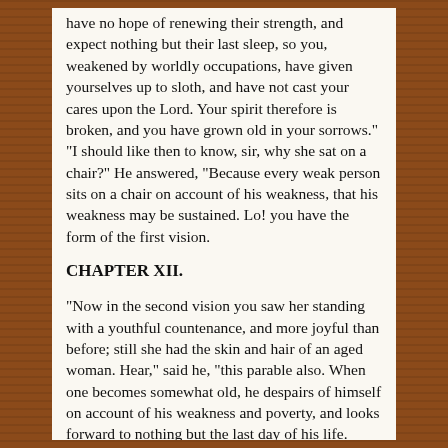have no hope of renewing their strength, and expect nothing but their last sleep, so you, weakened by worldly occupations, have given yourselves up to sloth, and have not cast your cares upon the Lord. Your spirit therefore is broken, and you have grown old in your sorrows." "I should like then to know, sir, why she sat on a chair?" He answered, "Because every weak person sits on a chair on account of his weakness, that his weakness may be sustained. Lo! you have the form of the first vision.
CHAPTER XII.
"Now in the second vision you saw her standing with a youthful countenance, and more joyful than before; still she had the skin and hair of an aged woman. Hear," said he, "this parable also. When one becomes somewhat old, he despairs of himself on account of his weakness and poverty, and looks forward to nothing but the last day of his life. Then suddenly an inheritance is left him: and hearing of this, he rises up, and becoming exceeding joyful, he puts on strength. And now he no longer reclines, but stands up; and his spirit, already destroyed by his previous actions, is renewed, and he no longer sits, but acts with vigour. So also with you, when you heard the